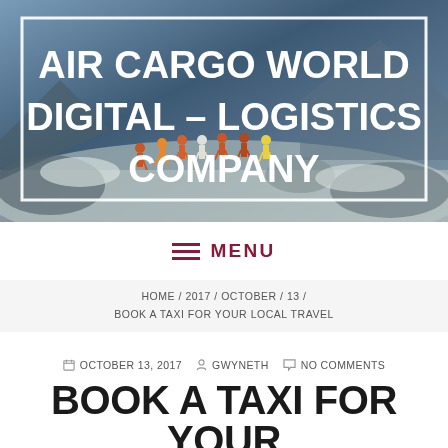[Figure (photo): Hero banner showing a group of hikers/trekkers walking on a snowy mountain landscape, with a blue-gray overlay. A white-bordered box overlays the image containing the site title text.]
AIR CARGO WORLD DIGITAL – LOGISTICS COMPANY
≡ MENU
HOME / 2017 / OCTOBER / 13 / BOOK A TAXI FOR YOUR LOCAL TRAVEL
🗓 OCTOBER 13, 2017  👤 GWYNETH  💬 NO COMMENTS
BOOK A TAXI FOR YOUR